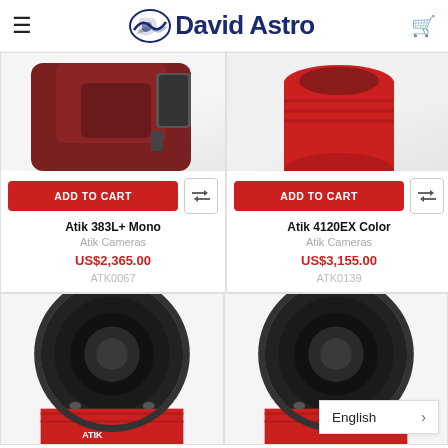David Astro
[Figure (photo): Product photo of Atik 383L+ Mono camera, red/dark red body, partially cropped]
ADD TO CART
Atik 383L+ Mono
Atik Cameras
US$2,365.00
ATK0067
[Figure (photo): Product photo of Atik 4120EX Color camera, red cylindrical body, partially cropped]
ADD TO CART
Atik 4120EX Color
Atik Cameras
US$3,155.00
ATK0139
[Figure (photo): Product photo of telescope camera, black and red body, front lens view, partially cropped]
[Figure (photo): Product photo of telescope camera, black and red body, front lens view, partially cropped]
English